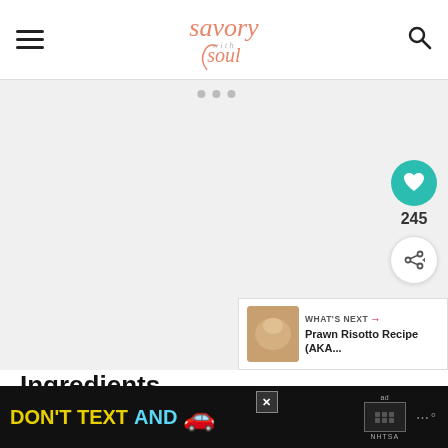Savory with Soul — navigation header
[Figure (screenshot): Large content/image placeholder area with carousel dots, floating heart button (245 likes), share button, and What's Next panel showing Prawn Risotto Recipe (AKA...)]
Ingredients
2 Tbsp butter
1 Tbsp garlic, minced
[Figure (infographic): Advertisement banner: DON'T TEXT AND [car emoji] with NHTSA ad badge and close button]